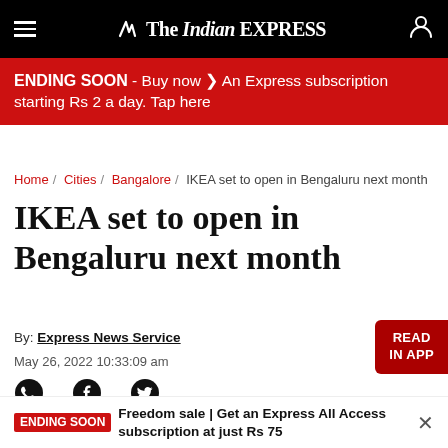The Indian EXPRESS
ENDING SOON - Buy now ❯ An Express subscription starting Rs 2 a day. Tap here
Home / Cities / Bangalore / IKEA set to open in Bengaluru next month
IKEA set to open in Bengaluru next month
By: Express News Service
May 26, 2022 10:33:09 am
ENDING SOON Freedom sale | Get an Express All Access subscription at just Rs 75